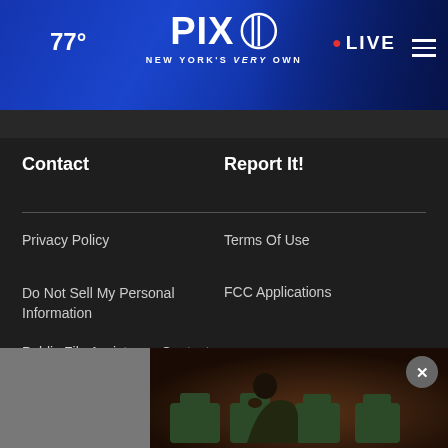77° PIX11 NEW YORK'S VERY OWN • LIVE
Contact
Report It!
Privacy Policy
Terms Of Use
Do Not Sell My Personal Information
FCC Applications
Public File Assistance Contact
The Hill
NewsNation
BestRev
[Figure (screenshot): Video overlay thumbnail showing a person sitting at a table with green chairs, partially visible]